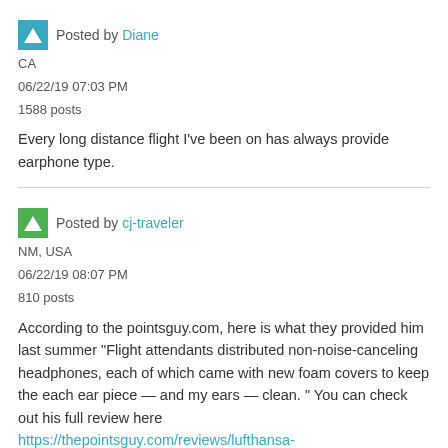Posted by Diane
CA
06/22/19 07:03 PM
1588 posts
Every long distance flight I've been on has always provide earphone type.
Posted by cj-traveler
NM, USA
06/22/19 08:07 PM
810 posts
According to the pointsguy.com, here is what they provided him last summer "Flight attendants distributed non-noise-canceling headphones, each of which came with new foam covers to keep the each ear piece — and my ears — clean. " You can check out his full review here https://thepointsguy.com/reviews/lufthansa-